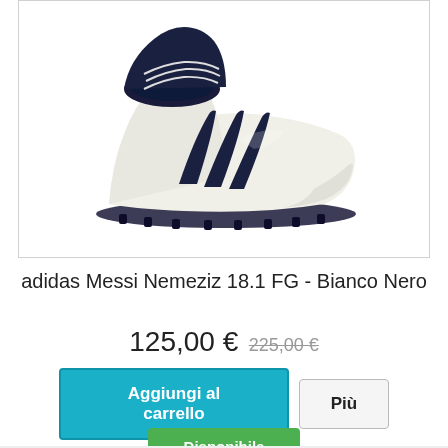[Figure (photo): Adidas Messi Nemeziz 18.1 FG football boot in white with dark navy blue three stripes, shown at an angle against a white background, with FG studs visible on the sole.]
adidas Messi Nemeziz 18.1 FG - Bianco Nero
125,00 € 225,00 €
Aggiungi al carrello
Più
Disponibile